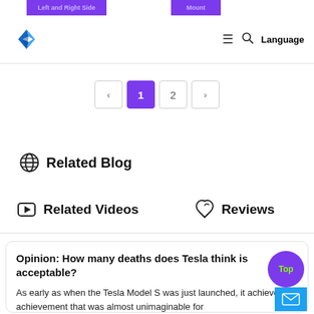Left and Right Side | Mount
[Figure (logo): Blue diamond/arrow logo]
≡  🔍  Language
[Figure (infographic): Pagination: ‹ 1 2 ›]
Related Blog
Related Videos
Reviews
Opinion: How many deaths does Tesla think is acceptable?
As early as when the Tesla Model S was just launched, it achieved an achievement that was almost unimaginable for